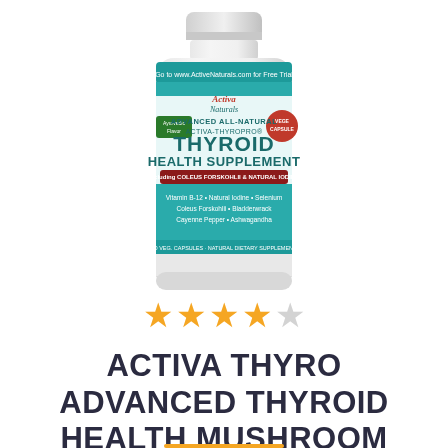[Figure (photo): Product photo of Activa Naturals Advanced All-Natural Activa-ThyroPro Thyroid Health Supplement bottle, a white plastic bottle with teal/green label, showing brand name, product name in large text, and list of ingredients including Vitamin B-12, Natural Iodine, Selenium, Coleus Forskohlii, Bladderwrack, Cayenne Pepper, Ashwagandha. A red badge on upper right reads 'Vege Capsule'. A green ribbon on upper left reads 'Ayurvedic Flavor'.]
[Figure (other): 4 out of 5 star rating shown as orange filled stars and one empty/grey star]
ACTIVA THYRO ADVANCED THYROID HEALTH MUSHROOM PLUS REVIEW